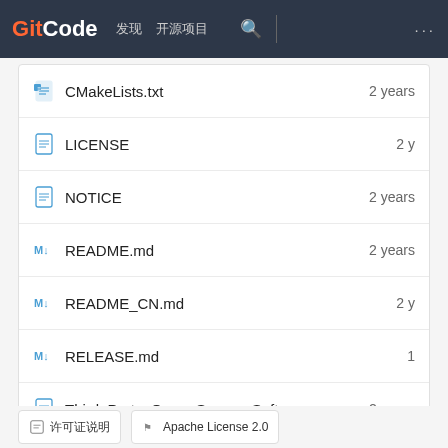GitCode 发现 开源项目 [search] [more]
CMakeLists.txt  2 years
LICENSE  2 y
NOTICE  2 years
README.md  2 years
README_CN.md  2 y
RELEASE.md  1
Third_Party_Open_Source_Soft...  2 years
build.sh  2 years
requirements.txt  2 years
Apache License 2.0